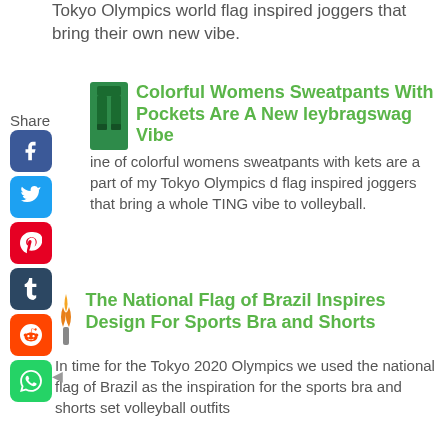Tokyo Olympics world flag inspired joggers that bring their own new vibe.
Colorful Womens Sweatpants With Pockets Are A New leybragswag Vibe
ine of colorful womens sweatpants with kets are a part of my Tokyo Olympics d flag inspired joggers that bring a whole TING vibe to volleyball.
The National Flag of Brazil Inspires Design For Sports Bra and Shorts
In time for the Tokyo 2020 Olympics we used the national flag of Brazil as the inspiration for the sports bra and shorts set volleyball outfits